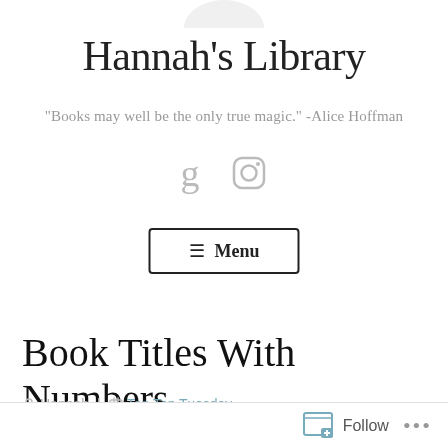[Figure (illustration): Partial circular avatar/profile image at top center, clipped at top of page]
Hannah's Library
"Books may well be the only true magic." -Alice Hoffman
[Figure (illustration): Social media icons: Goodreads (g) and Instagram (camera/square icon) in light gray]
☰ Menu
Book Titles With Numbers
Hannah   Top Ten Tuesday
Follow